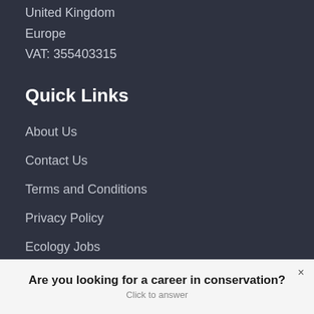United Kingdom
Europe
VAT: 355403315
Quick Links
About Us
Contact Us
Terms and Conditions
Privacy Policy
Ecology Jobs
Terra Incognita
Sustainability Job
Are you looking for a career in conservation?
Click to answer